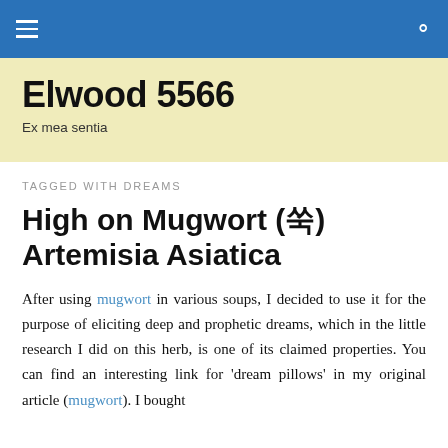Elwood 5566 — navigation bar
Elwood 5566
Ex mea sentia
TAGGED WITH DREAMS
High on Mugwort (쑥) Artemisia Asiatica
After using mugwort in various soups, I decided to use it for the purpose of eliciting deep and prophetic dreams, which in the little research I did on this herb, is one of its claimed properties. You can find an interesting link for 'dream pillows' in my original article (mugwort). I bought